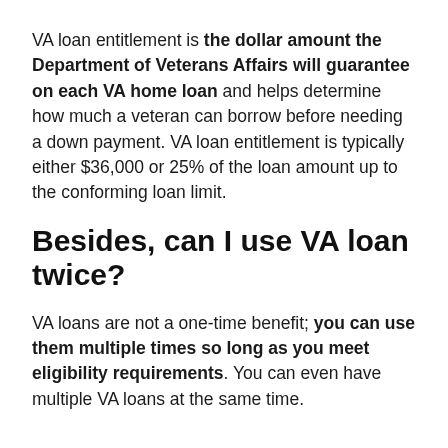VA loan entitlement is the dollar amount the Department of Veterans Affairs will guarantee on each VA home loan and helps determine how much a veteran can borrow before needing a down payment. VA loan entitlement is typically either $36,000 or 25% of the loan amount up to the conforming loan limit.
Besides, can I use VA loan twice?
VA loans are not a one-time benefit; you can use them multiple times so long as you meet eligibility requirements. You can even have multiple VA loans at the same time.